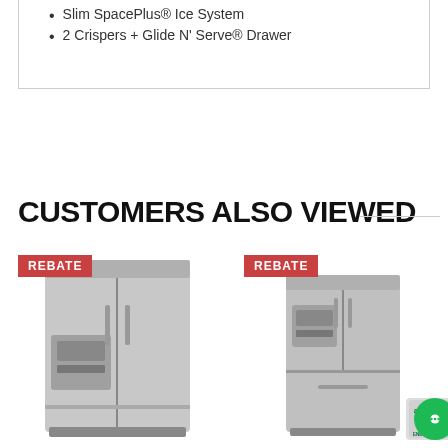Slim SpacePlus® Ice System
2 Crispers + Glide N' Serve® Drawer
CUSTOMERS ALSO VIEWED
[Figure (photo): Stainless steel side-by-side refrigerator with REBATE badge]
[Figure (photo): Stainless steel French door refrigerator with REBATE badge and Energy Star logo]